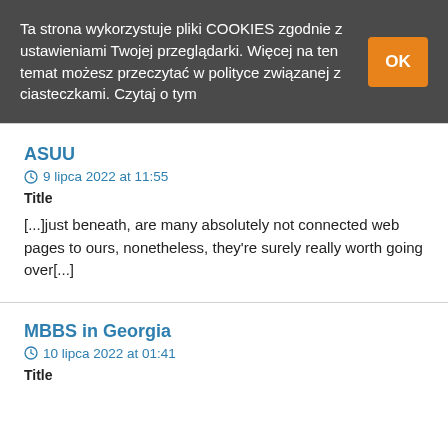Ta strona wykorzystuje pliki COOKIES zgodnie z ustawieniami Twojej przeglądarki. Więcej na ten temat możesz przeczytać w polityce związanej z ciasteczkami. Czytaj o tym
ASUU
9 lipca 2022 at 11:55
Title
[...]just beneath, are many absolutely not connected web pages to ours, nonetheless, they're surely really worth going over[...]
MBBS in Georgia
10 lipca 2022 at 01:41
Title